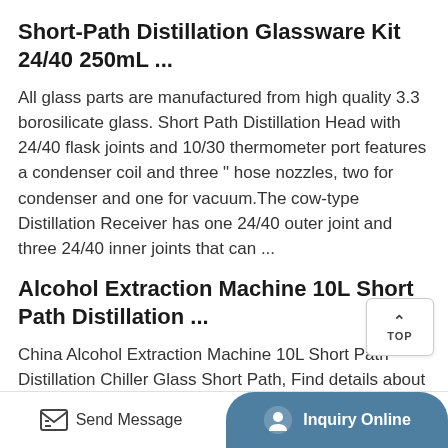Short-Path Distillation Glassware Kit 24/40 250mL ...
All glass parts are manufactured from high quality 3.3 borosilicate glass. Short Path Distillation Head with 24/40 flask joints and 10/30 thermometer port features a condenser coil and three " hose nozzles, two for condenser and one for vacuum.The cow-type Distillation Receiver has one 24/40 outer joint and three 24/40 inner joints that can ...
Alcohol Extraction Machine 10L Short Path Distillation ...
China Alcohol Extraction Machine 10L Short Path Distillation Chiller Glass Short Path, Find details about China Short Path, Short Path Distillation Kit from Alcohol Extraction Machine 10L Short Path
Send Message   Inquiry Online